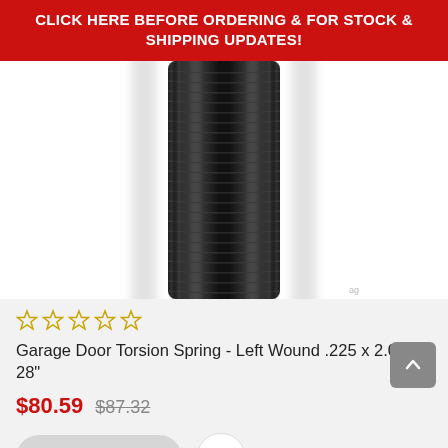CLICK HERE BEFORE ORDERING & FOR STOCK & SHIPPING UPDATES!
[Figure (photo): Close-up photograph of a black coiled garage door torsion spring against a white background]
☆☆☆☆☆ (star rating, 5 empty stars)
Garage Door Torsion Spring - Left Wound .225 x 2.00" x 28"
$80.59  $87.32